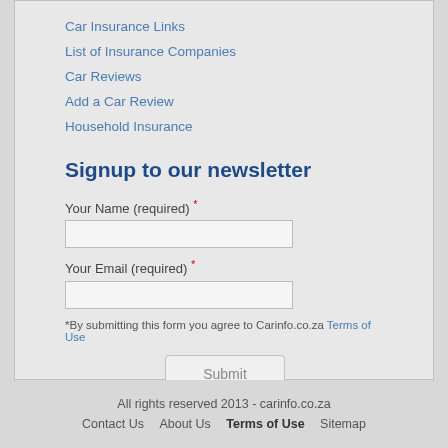Car Insurance Links
List of Insurance Companies
Car Reviews
Add a Car Review
Household Insurance
Signup to our newsletter
Your Name (required) *
Your Email (required) *
*By submitting this form you agree to Carinfo.co.za Terms of Use
All rights reserved 2013 - carinfo.co.za
Contact Us   About Us   Terms of Use   Sitemap